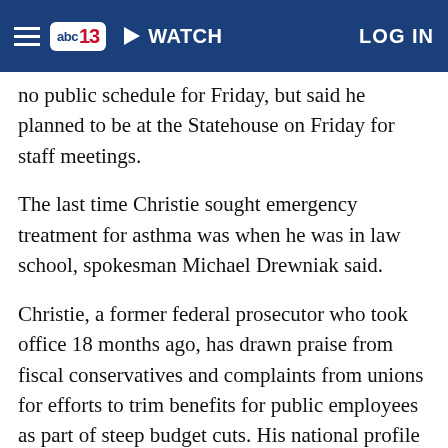abc13 | WATCH | LOG IN
no public schedule for Friday, but said he planned to be at the Statehouse on Friday for staff meetings.
The last time Christie sought emergency treatment for asthma was when he was in law school, spokesman Michael Drewniak said.
Christie, a former federal prosecutor who took office 18 months ago, has drawn praise from fiscal conservatives and complaints from unions for efforts to trim benefits for public employees as part of steep budget cuts. His national profile also has risen, in part, for his frank and sometimes confrontational exchanges with the media.
The governor attended an education conference and a congressional fundraiser in Iowa on Monday, where he again told reporters he was not running for president. He has said